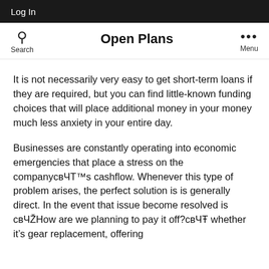Log In
Open Plans
It is not necessarily very easy to get short-term loans if they are required, but you can find little-known funding choices that will place additional money in your money much less anxiety in your entire day.
Businesses are constantly operating into economic emergencies that place a stress on the company's cashflow. Whenever this type of problem arises, the perfect solution is is generally direct. In the event that issue become resolved is …How are we planning to pay it off?… whether it's gear replacement, offering